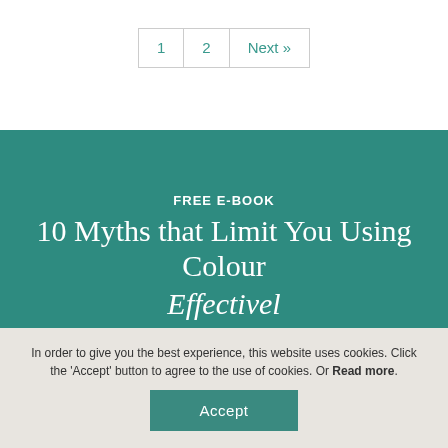1  2  Next »
[Figure (other): Teal promotional banner for a free e-book with title '10 Myths that Limit You Using Colour Effectively']
FREE E-BOOK
10 Myths that Limit You Using Colour
Effectivel...
In order to give you the best experience, this website uses cookies. Click the 'Accept' button to agree to the use of cookies. Or Read more.
Accept